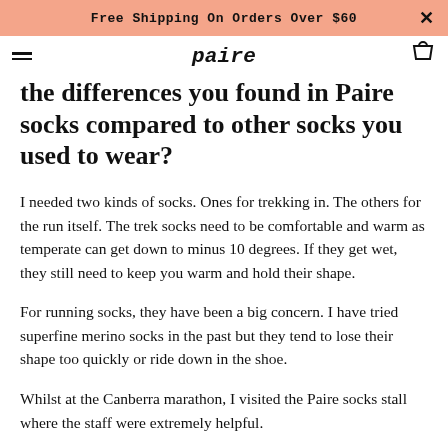Free Shipping On Orders Over $60
the differences you found in Paire socks compared to other socks you used to wear?
I needed two kinds of socks. Ones for trekking in. The others for the run itself. The trek socks need to be comfortable and warm as temperate can get down to minus 10 degrees. If they get wet, they still need to keep you warm and hold their shape.
For running socks, they have been a big concern. I have tried superfine merino socks in the past but they tend to lose their shape too quickly or ride down in the shoe.
Whilst at the Canberra marathon, I visited the Paire socks stall where the staff were extremely helpful.